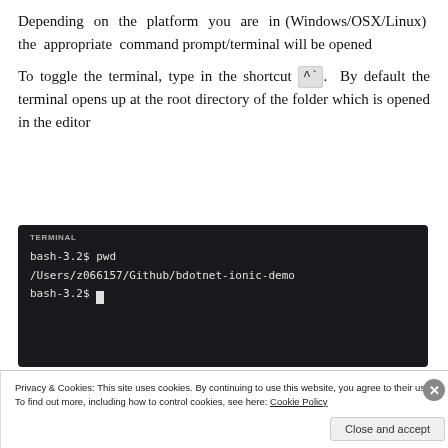Depending on the platform you are in (Windows/OSX/Linux) the appropriate command prompt/terminal will be opened
To toggle the terminal, type in the shortcut ^`. By default the terminal opens up at the root directory of the folder which is opened in the editor
[Figure (screenshot): Terminal window screenshot showing bash-3.2$ pwd command, output /Users/z066157/Github/bdotnet-ionic-demo, and bash-3.2$ prompt with cursor]
Privacy & Cookies: This site uses cookies. By continuing to use this website, you agree to their use. To find out more, including how to control cookies, see here: Cookie Policy
Close and accept